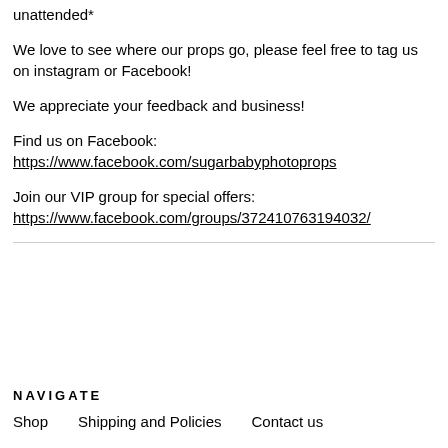unattended*
We love to see where our props go, please feel free to tag us on instagram or Facebook!
We appreciate your feedback and business!
Find us on Facebook: https://www.facebook.com/sugarbabyphotoprops
Join our VIP group for special offers:
https://www.facebook.com/groups/372410763194032/
NAVIGATE
Shop    Shipping and Policies    Contact us